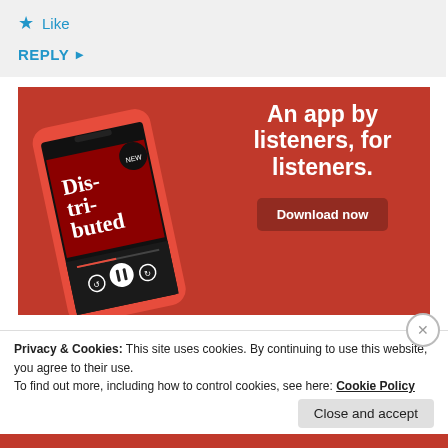★ Like
REPLY ▶
[Figure (screenshot): Advertisement for a podcast app on red background showing a smartphone displaying a podcast episode called 'Distributed' with text 'An app by listeners, for listeners.' and a 'Download now' button]
Privacy & Cookies: This site uses cookies. By continuing to use this website, you agree to their use.
To find out more, including how to control cookies, see here: Cookie Policy
Close and accept